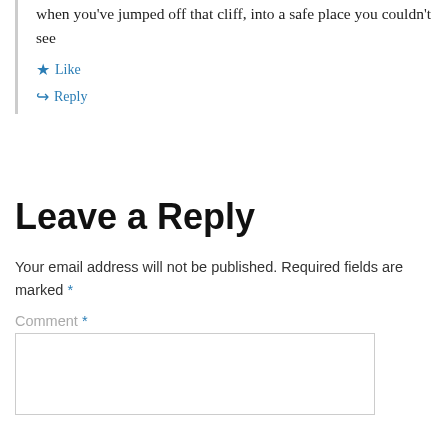when you've jumped off that cliff, into a safe place you couldn't see
★ Like
↪ Reply
Leave a Reply
Your email address will not be published. Required fields are marked *
Comment *